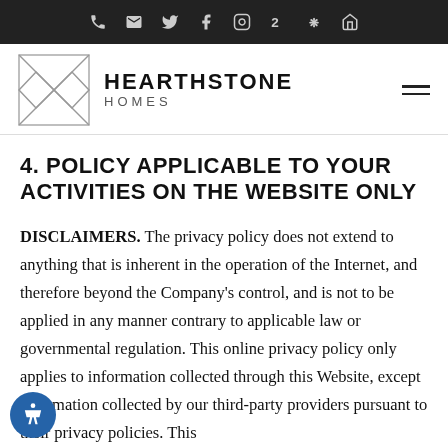Navigation bar with phone, email, Twitter, Facebook, Instagram, Zillow, Yelp, and home icons
[Figure (logo): Hearthstone Homes logo with geometric diamond/hourglass SVG mark and bold text HEARTHSTONE HOMES]
4. POLICY APPLICABLE TO YOUR ACTIVITIES ON THE WEBSITE ONLY
DISCLAIMERS. The privacy policy does not extend to anything that is inherent in the operation of the Internet, and therefore beyond the Company's control, and is not to be applied in any manner contrary to applicable law or governmental regulation. This online privacy policy only applies to information collected through this Website, except information collected by our third-party providers pursuant to their privacy policies. This